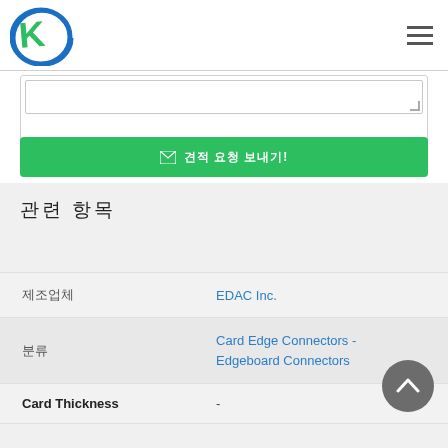[Figure (logo): K company logo — circular blue/teal K emblem]
[Figure (other): Hamburger menu icon (three horizontal lines)]
[Figure (other): Text input textarea with resize handle]
[Figure (other): Green send button with envelope icon and Korean text]
관련 항목
| 속성 | 값 |
| --- | --- |
| 제조업체 | EDAC Inc. |
| 분류 | Card Edge Connectors - Edgeboard Connectors |
| Card Thickness | - |